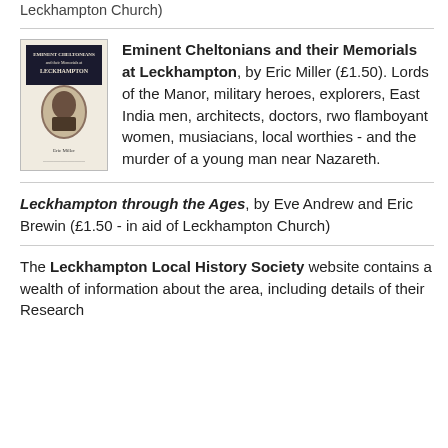Leckhampton Church)
[Figure (photo): Book cover of 'Eminent Cheltonians and their Memorials at Leckhampton' by Eric Miller, showing a portrait image on the cover]
Eminent Cheltonians and their Memorials at Leckhampton, by Eric Miller (£1.50). Lords of the Manor, military heroes, explorers, East India men, architects, doctors, rwo flamboyant women, musiacians, local worthies - and the murder of a young man near Nazareth.
Leckhampton through the Ages, by Eve Andrew and Eric Brewin (£1.50 - in aid of Leckhampton Church)
The Leckhampton Local History Society website contains a wealth of information about the area, including details of their Research